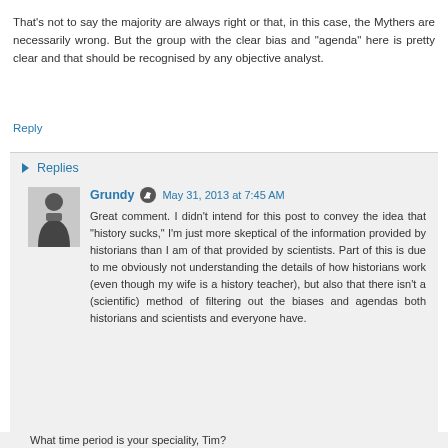That's not to say the majority are always right or that, in this case, the Mythers are necessarily wrong. But the group with the clear bias and "agenda" here is pretty clear and that should be recognised by any objective analyst.
Reply
▶ Replies
Grundy  May 31, 2013 at 7:45 AM
Great comment. I didn't intend for this post to convey the idea that "history sucks," I'm just more skeptical of the information provided by historians than I am of that provided by scientists. Part of this is due to me obviously not understanding the details of how historians work (even though my wife is a history teacher), but also that there isn't a (scientific) method of filtering out the biases and agendas both historians and scientists and everyone have.
What time period is your speciality, Tim?